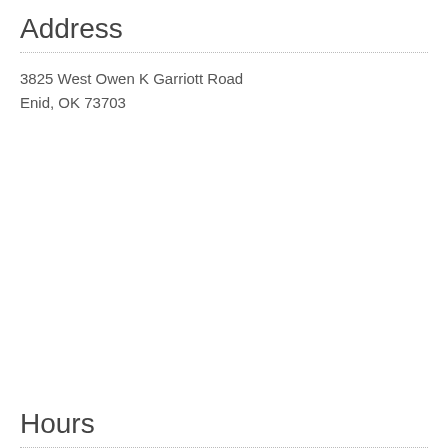Address
3825 West Owen K Garriott Road
Enid, OK 73703
Hours